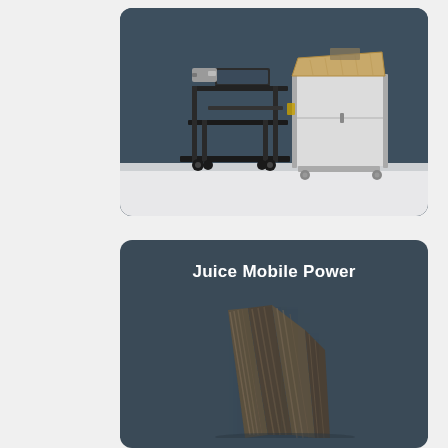[Figure (photo): Photo of two AV carts on a dark teal/slate background: a black metal multi-shelf cart with a projector and laptop on top, and a white/silver enclosed cabinet cart with a slanted wooden top surface.]
Juice Mobile Power
[Figure (photo): Photo of dark-colored folded/stacked power strip or cable management panels, partially visible at the bottom of a dark teal card.]